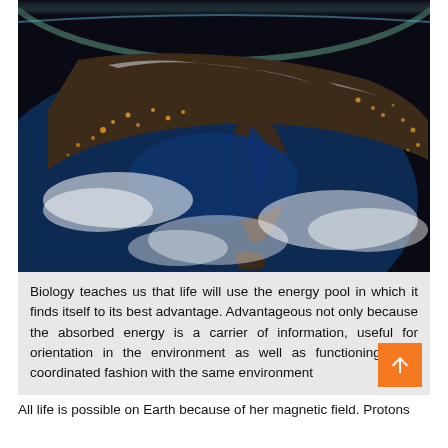[Figure (photo): Aerial photograph of Earth from space showing landmasses, coastlines, clouds, and city lights at night — likely the Mediterranean region viewed from the ISS.]
Biology teaches us that life will use the energy pool in which it finds itself to its best advantage. Advantageous not only because the absorbed energy is a carrier of information, useful for orientation in the environment as well as functioning in a coordinated fashion with the same environment
All life is possible on Earth because of her magnetic field. Protons